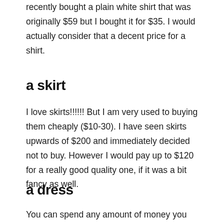recently bought a plain white shirt that was originally $59 but I bought it for $35. I would actually consider that a decent price for a shirt.
a skirt
I love skirts!!!!!! But I am very used to buying them cheaply ($10-30). I have seen skirts upwards of $200 and immediately decided not to buy. However I would pay up to $120 for a really good quality one, if it was a bit fancy as well.
a dress
You can spend any amount of money you want on a dress if you can prove you like it and if it is worth the